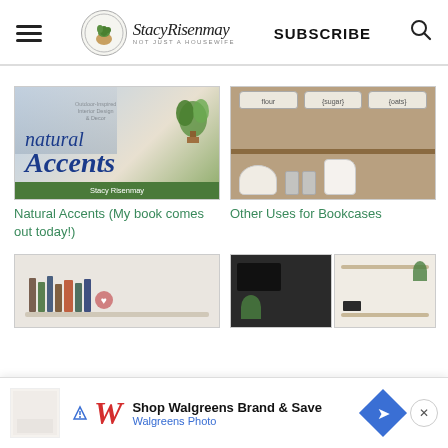StacyRisenmay - Not Just a Housewife | SUBSCRIBE
[Figure (photo): Book cover for 'Natural Accents' by Stacy Risenmay - Outdoor-Inspired Interior Design & Decor]
Natural Accents (My book comes out today!)
[Figure (photo): Wooden shelf with labeled glass jars (flour, sugar, oats) on top shelf and white bowls, glasses, and pitcher on bottom shelf]
Other Uses for Bookcases
[Figure (photo): Floating wall shelf with books and decorative items]
[Figure (photo): Dark shelving unit with items]
[Figure (photo): Light wood floating shelves with plants and decor]
Shop Walgreens Brand & Save | Walgreens Photo